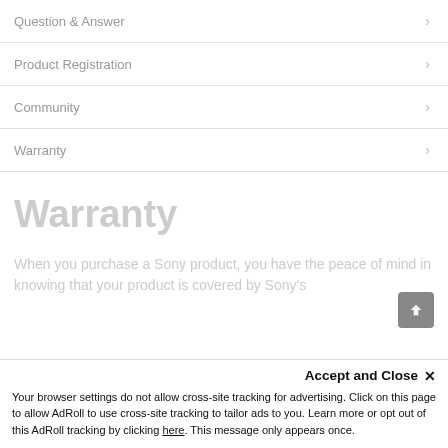Question & Answer
Product Registration
Community
Warranty
Warranty
When you purchase a Sony product, you have the peace of mind in knowing that your product is covered by Sony's
Accept and Close ×
Your browser settings do not allow cross-site tracking for advertising. Click on this page to allow AdRoll to use cross-site tracking to tailor ads to you. Learn more or opt out of this AdRoll tracking by clicking here. This message only appears once.